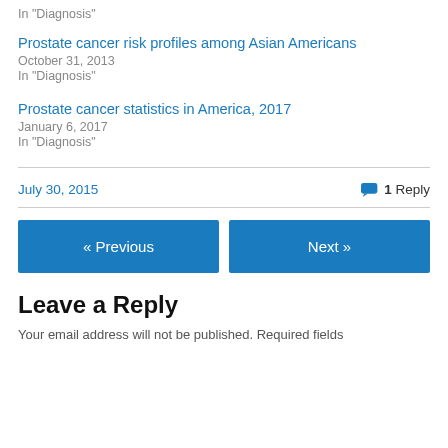In "Diagnosis"
Prostate cancer risk profiles among Asian Americans
October 31, 2013
In "Diagnosis"
Prostate cancer statistics in America, 2017
January 6, 2017
In "Diagnosis"
July 30, 2015
1 Reply
« Previous
Next »
Leave a Reply
Your email address will not be published. Required fields